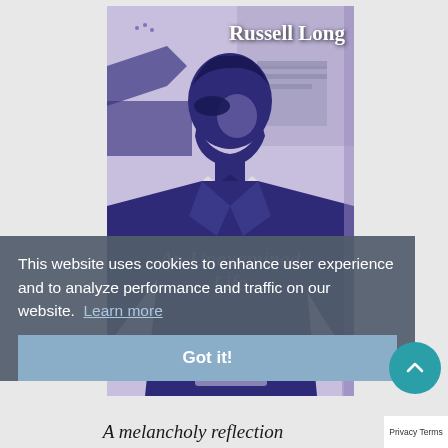[Figure (illustration): Book cover for 'An Unexamined Life' by Russell Long. Features a stylized high-contrast purple/blue illustration of a man in a suit looking down, with abstract background elements. Author name 'Russell Long' appears in white serif text at the top right. Book title 'An Unexamined Life' appears in semi-transparent italic text overlaid on the figure.]
This website uses cookies to enhance user experience and to analyze performance and traffic on our website. Learn more
Got it!
A melancholy reflection